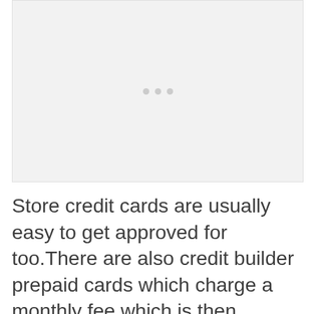[Figure (other): Placeholder image area with three small grey dots centered on a light grey background]
Store credit cards are usually easy to get approved for too.There are also credit builder prepaid cards which charge a monthly fee which is then recorded on your credit file as repaying a debt. This helps you build your credit...